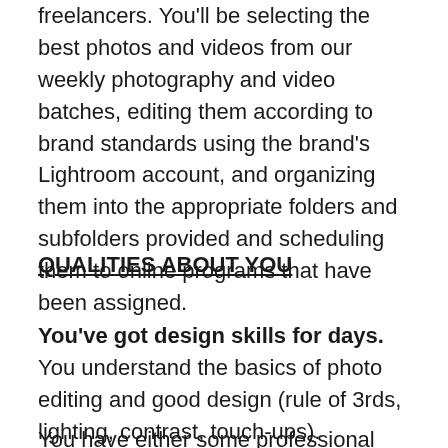freelancers. You'll be selecting the best photos and videos from our weekly photography and video batches, editing them according to brand standards using the brand's Lightroom account, and organizing them into the appropriate folders and subfolders provided and scheduling them to online programs that have been assigned.
QUALITIES ABOUT YOU
You've got design skills for days. You understand the basics of photo editing and good design (rule of 3rds, lighting, contrast, touch-ups).
You have either some professional experience